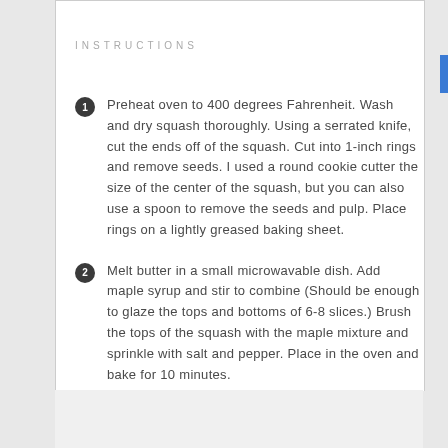INSTRUCTIONS
Preheat oven to 400 degrees Fahrenheit. Wash and dry squash thoroughly. Using a serrated knife, cut the ends off of the squash. Cut into 1-inch rings and remove seeds. I used a round cookie cutter the size of the center of the squash, but you can also use a spoon to remove the seeds and pulp. Place rings on a lightly greased baking sheet.
Melt butter in a small microwavable dish. Add maple syrup and stir to combine (Should be enough to glaze the tops and bottoms of 6-8 slices.) Brush the tops of the squash with the maple mixture and sprinkle with salt and pepper. Place in the oven and bake for 10 minutes.